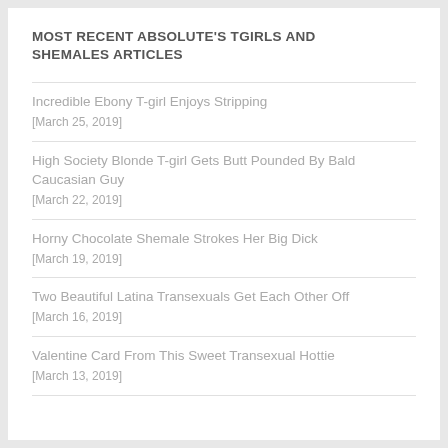MOST RECENT ABSOLUTE'S TGIRLS AND SHEMALES ARTICLES
Incredible Ebony T-girl Enjoys Stripping
[March 25, 2019]
High Society Blonde T-girl Gets Butt Pounded By Bald Caucasian Guy
[March 22, 2019]
Horny Chocolate Shemale Strokes Her Big Dick
[March 19, 2019]
Two Beautiful Latina Transexuals Get Each Other Off
[March 16, 2019]
Valentine Card From This Sweet Transexual Hottie
[March 13, 2019]